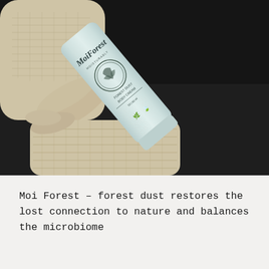[Figure (photo): A hand wearing a cream-colored knit sweater holds a light blue/grey tube of MoiForest brand body cream against a dark background. The tube is tilted diagonally showing the brand name and logo.]
Moi Forest – forest dust restores the lost connection to nature and balances the microbiome